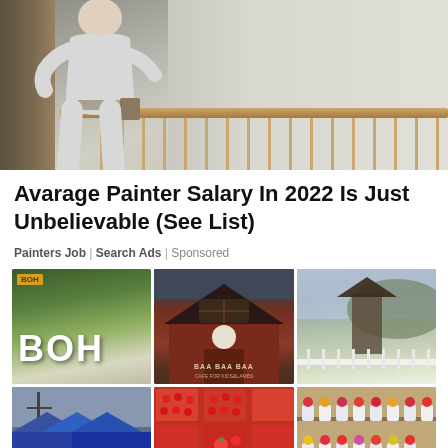[Figure (photo): A painter in white clothes standing with back partly turned, holding a paint roller, painting a wall in a staircase/hallway area with a wooden railing]
Avarage Painter Salary In 2022 Is Just Unbelievable (See List)
Painters Job | Search Ads | Sponsored
[Figure (photo): A 3x2 grid of six photos: (1) BOH tea plantation sign on green hillside, (2) Red barn-style building with BAA BAA BAA cafe sign, (3) Garden/park entrance with trellis tower, (4) Outdoor market with blue tents and crowd, (5) Trays of fresh strawberries on display, (6) Flower market with potted colorful plants]